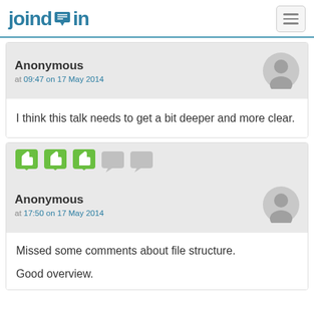joindin
Anonymous
at 09:47 on 17 May 2014
I think this talk needs to get a bit deeper and more clear.
Anonymous
at 17:50 on 17 May 2014
Missed some comments about file structure.

Good overview.